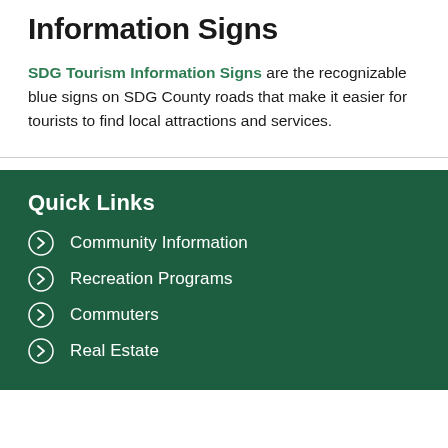Information Signs
SDG Tourism Information Signs are the recognizable blue signs on SDG County roads that make it easier for tourists to find local attractions and services.
Quick Links
Community Information
Recreation Programs
Commuters
Real Estate